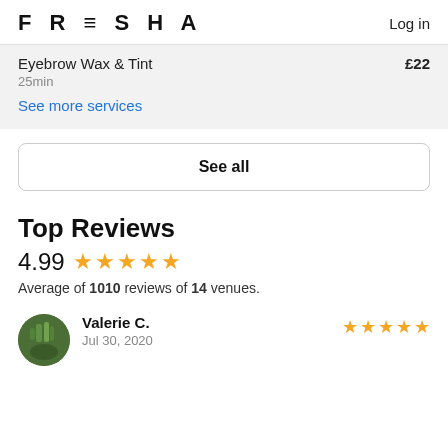FRESHA  Log in
Eyebrow Wax & Tint  £22
25min
See more services
See all
Top Reviews
4.99 ★★★★★
Average of 1010 reviews of 14 venues.
Valerie C.
Jul 30, 2020